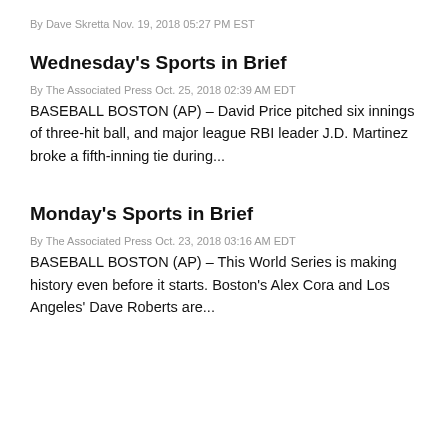By Dave Skretta Nov. 19, 2018 05:27 PM EST
Wednesday's Sports in Brief
By The Associated Press Oct. 25, 2018 02:39 AM EDT
BASEBALL BOSTON (AP) – David Price pitched six innings of three-hit ball, and major league RBI leader J.D. Martinez broke a fifth-inning tie during...
Monday's Sports in Brief
By The Associated Press Oct. 23, 2018 03:16 AM EDT
BASEBALL BOSTON (AP) – This World Series is making history even before it starts. Boston's Alex Cora and Los Angeles' Dave Roberts are...